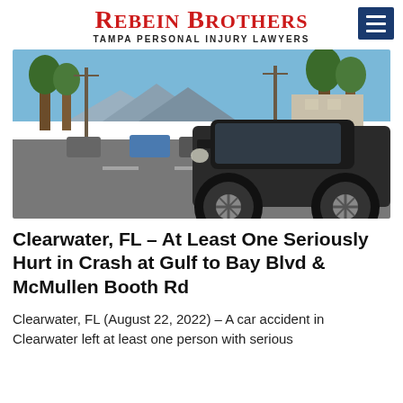REBEIN BROTHERS — TAMPA PERSONAL INJURY LAWYERS
[Figure (photo): Street scene with a dark SUV/sedan in the foreground, parked cars along a residential street, utility poles, trees, and mountains in the background under a blue sky.]
Clearwater, FL – At Least One Seriously Hurt in Crash at Gulf to Bay Blvd & McMullen Booth Rd
Clearwater, FL (August 22, 2022) – A car accident in Clearwater left at least one person with serious